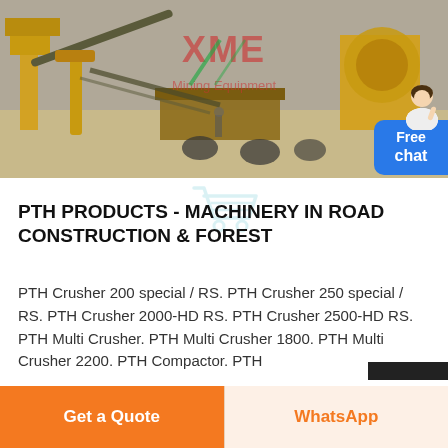[Figure (photo): Outdoor photograph of yellow heavy mining/construction machinery and conveyor equipment at a quarry or construction site, with the XME Mining Equipment logo watermarked in the center of the image.]
PTH PRODUCTS - MACHINERY IN ROAD CONSTRUCTION & FOREST
PTH Crusher 200 special / RS. PTH Crusher 250 special / RS. PTH Crusher 2000-HD RS. PTH Crusher 2500-HD RS. PTH Multi Crusher. PTH Multi Crusher 1800. PTH Multi Crusher 2200. PTH Compactor. PTH